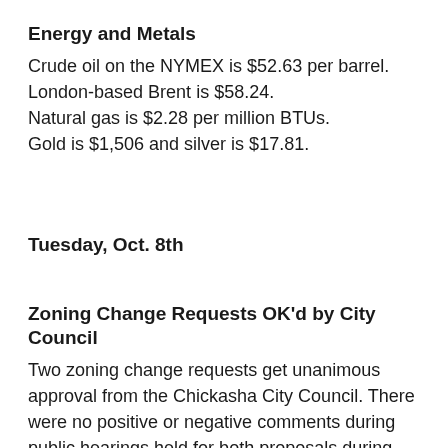Energy and Metals
Crude oil on the NYMEX is $52.63 per barrel.
London-based Brent is $58.24.
Natural gas is $2.28 per million BTUs.
Gold is $1,506 and silver is $17.81.
Tuesday, Oct. 8th
Zoning Change Requests OK'd by City Council
Two zoning change requests get unanimous approval from the Chickasha City Council. There were no positive or negative comments during public hearings held for both proposals during last night's city council meeting. Bill McDuff was given the go-ahead to re-zone some residential property at 220 N. 6th to light